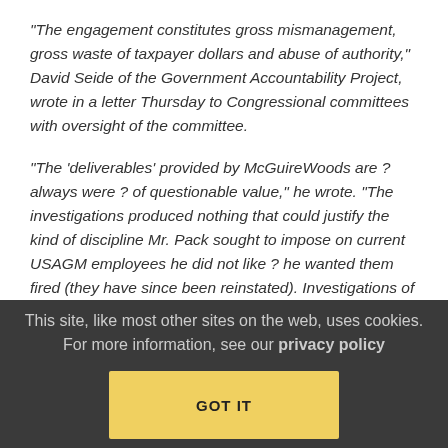“The engagement constitutes gross mismanagement, gross waste of taxpayer dollars and abuse of authority,” David Seide of the Government Accountability Project, wrote in a letter Thursday to Congressional committees with oversight of the committee.
“The ‘deliverables’ provided by McGuireWoods are ? always were ? of questionable value,” he wrote. “The investigations produced nothing that could justify the kind of discipline Mr. Pack sought to impose on current USAGM employees he did not like ? he wanted them fired (they have since been reinstated). Investigations of former employees also yielded nothing.”
It seems almost cartoonish what Pack did here:
This site, like most other sites on the web, uses cookies. For more information, see our privacy policy